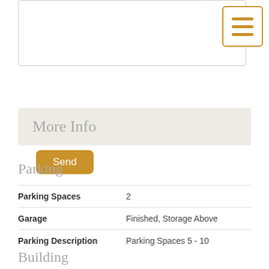[Figure (other): Textarea input box (partially visible at top of page)]
[Figure (other): Menu/hamburger icon button with three horizontal lines, golden/amber color, inside a bordered box]
Send
More Info
Parking
| Field | Value |
| --- | --- |
| Parking Spaces | 2 |
| Garage | Finished, Storage Above |
| Parking Description | Parking Spaces 5 - 10 |
Building